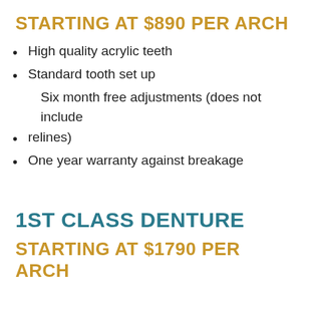STARTING AT $890 PER ARCH
High quality acrylic teeth
Standard tooth set up
Six month free adjustments (does not include relines)
One year warranty against breakage
1ST CLASS DENTURE
STARTING AT $1790 PER ARCH